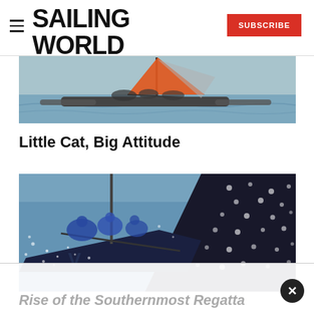SAILING WORLD
[Figure (photo): Sailing catamaran with orange sail on water, crew visible]
Little Cat, Big Attitude
[Figure (photo): Racing yacht heeled over with crew in blue, dark spotted sail, spray everywhere]
Rise of the Southernmost Regatta